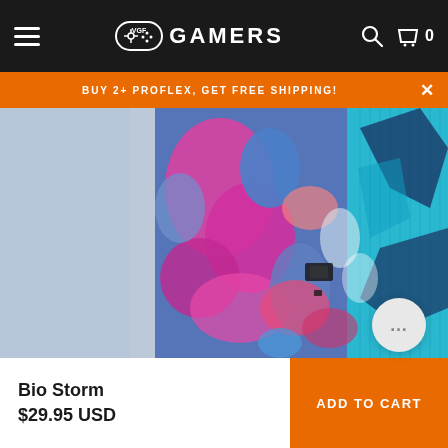VGF GAMERS
BUY 2+ PROFLEX, GET FREE SHIPPING!
[Figure (photo): Close-up photo of a PS5 console with colorful camouflage skin featuring blue, pink, cyan and dark blue patterns called Bio Storm]
Bio Storm
$29.95 USD
ADD TO CART